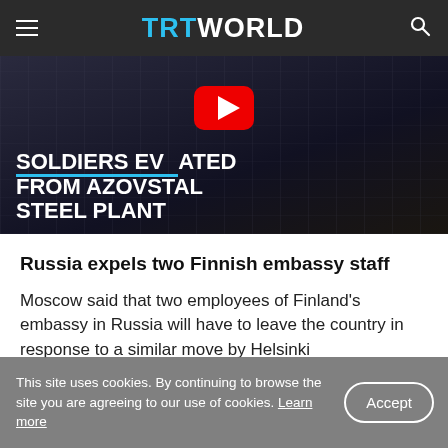TRT WORLD
[Figure (screenshot): Video thumbnail showing industrial steel plant at night with bold white text reading SOLDIERS EVACUATED FROM AZOVSTAL STEEL PLANT and a YouTube play button overlay]
Russia expels two Finnish embassy staff
Moscow said that two employees of Finland's embassy in Russia will have to leave the country in response to a similar move by Helsinki
This site uses cookies. By continuing to browse the site you are agreeing to our use of cookies. Learn more